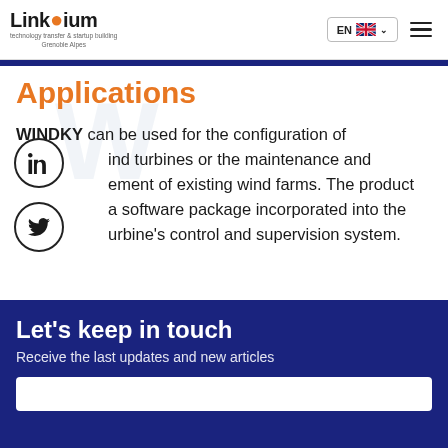Linksium — technology transfer & startup building Grenoble Alpes | EN | menu
Applications
WINDKY can be used for the configuration of wind turbines or the maintenance and management of existing wind farms. The product is a software package incorporated into the turbine's control and supervision system.
Let's keep in touch
Receive the last updates and new articles